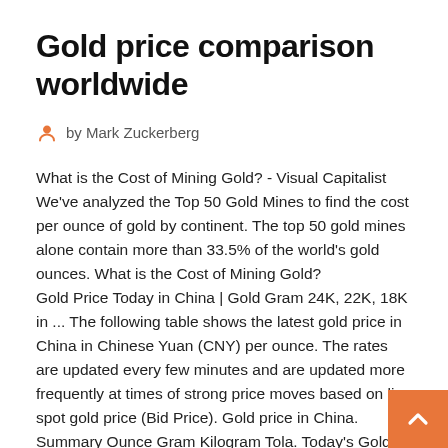Gold price comparison worldwide
by Mark Zuckerberg
What is the Cost of Mining Gold? - Visual Capitalist We've analyzed the Top 50 Gold Mines to find the cost per ounce of gold by continent. The top 50 gold mines alone contain more than 33.5% of the world's gold ounces. What is the Cost of Mining Gold?
Gold Price Today in China | Gold Gram 24K, 22K, 18K in ... The following table shows the latest gold price in China in Chinese Yuan (CNY) per ounce. The rates are updated every few minutes and are updated more frequently at times of strong price moves based on live spot gold price (Bid Price). Gold price in China. Summary Ounce Gram Kilogram Tola. Today's Gold prices are not much above production costs ... In many ways that makes sense. Gold prices were flying at the time of the GFC above $1,700 to reach a top and declined by more and